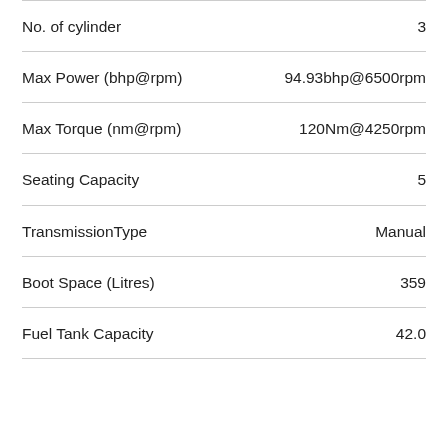| Specification | Value |
| --- | --- |
| No. of cylinder | 3 |
| Max Power (bhp@rpm) | 94.93bhp@6500rpm |
| Max Torque (nm@rpm) | 120Nm@4250rpm |
| Seating Capacity | 5 |
| TransmissionType | Manual |
| Boot Space (Litres) | 359 |
| Fuel Tank Capacity | 42.0 |